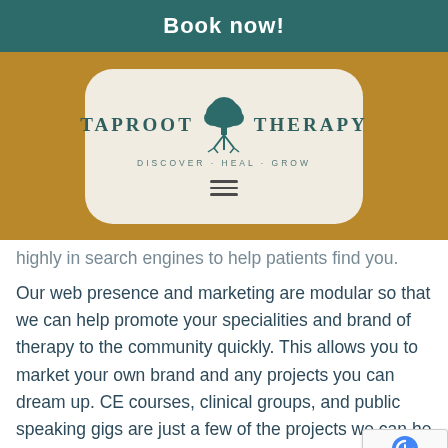Book now!
[Figure (logo): Taproot Therapy logo with tree illustration and tagline 'Discover · Heal · Grow' on a beige card over a brown/gold background bar]
highly in search engines to help patients find you.
Our web presence and marketing are modular so that we can help promote your specialities and brand of therapy to the community quickly. This allows you to market your own brand and any projects you can dream up. CE courses, clinical groups, and public speaking gigs are just a few of the projects we can he...